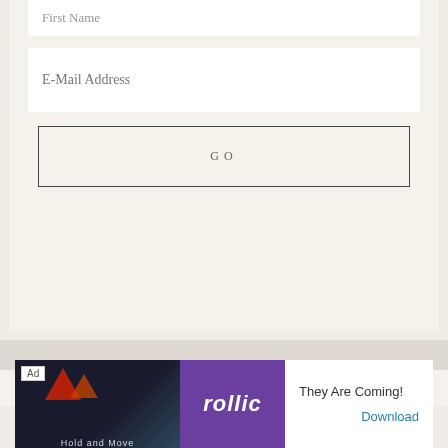First Name
E-Mail Address
GO
« Eclectically Fall Home Tour 2015
The Inspiration Gallery »
[Figure (screenshot): Advertisement banner: 'Ad' label, game screenshot with Hold and Move text, Rollic purple logo, text 'They Are Coming!', and 'Download' link]